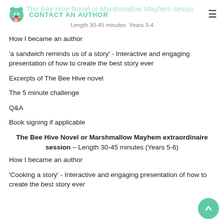The Bee Hive Novel or Marshmallow Mayhem session | CONTACT AN AUTHOR | Length 30-45 minutes Years 3-4
How I became an author
'a sandwich reminds us of a story' - Interactive and engaging presentation of how to create the best story ever
Excerpts of The Bee Hive novel
The 5 minute challenge
Q&A
Book signing if applicable
The Bee Hive Novel or Marshmallow Mayhem extraordinaire session – Length 30-45 minutes (Years 5-6)
How I became an author
'Cooking a story' - Interactive and engaging presentation of how to create the best story ever